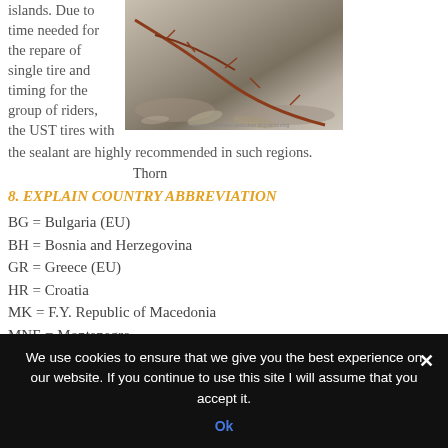islands. Due to time needed for the repare of single tire and timing for the group of riders, the UST tires with the sealant are highly recommended in such regions.
[Figure (photo): Close-up photo of thorns on branches with dry leaves and debris on the ground]
Thorn
8. EXPLAIN COUNTRY ABBREVIATION
BG = Bulgaria (EU)
BH = Bosnia and Herzegovina
GR = Greece (EU)
HR = Croatia
MK = F.Y. Republic of Macedonia
MNE = Montenegro
RKS = Republic of Kosova
We use cookies to ensure that we give you the best experience on our website. If you continue to use this site I will assume that you accept it.